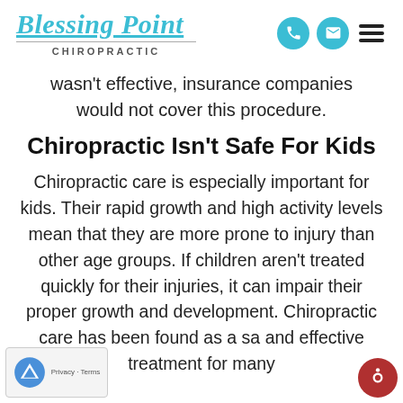Blessing Point Chiropractic
wasn't effective, insurance companies would not cover this procedure.
Chiropractic Isn't Safe For Kids
Chiropractic care is especially important for kids. Their rapid growth and high activity levels mean that they are more prone to injury than other age groups. If children aren't treated quickly for their injuries, it can impair their proper growth and development. Chiropractic care has been found as a safe and effective treatment for many